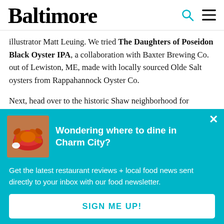Baltimore
illustrator Matt Leuing. We tried The Daughters of Poseidon Black Oyster IPA, a collaboration with Baxter Brewing Co. out of Lewiston, ME, made with locally sourced Olde Salt oysters from Rappahannock Oyster Co.
Next, head over to the historic Shaw neighborhood for
[Figure (photo): Popup overlay with teal background showing a photo of crab dishes and newsletter signup prompt. Title: Wondering where to dine in Charm City? Body: Get the latest restaurant reviews + local food news sent directly to your inbox with our food newsletter. Button: SIGN ME UP!]